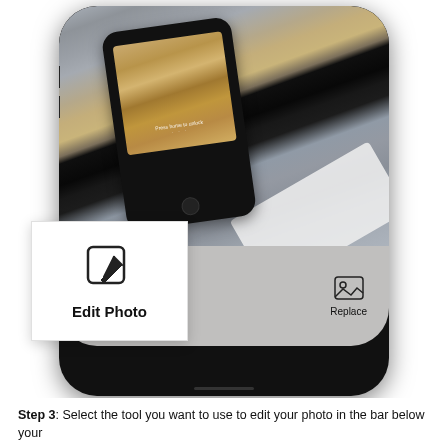[Figure (screenshot): Smartphone screen showing a photo of a black iPhone lying on a gray carpet on top of a white box. The phone screen displays a lock screen with a wood texture wallpaper. Below the photo area is a gray toolbar with a 'Replace' button icon on the right. A white callout box overlays the bottom-left showing a pencil/edit icon and the text 'Edit Photo'.]
Step 3: Select the tool you want to use to edit your photo in the bar below your